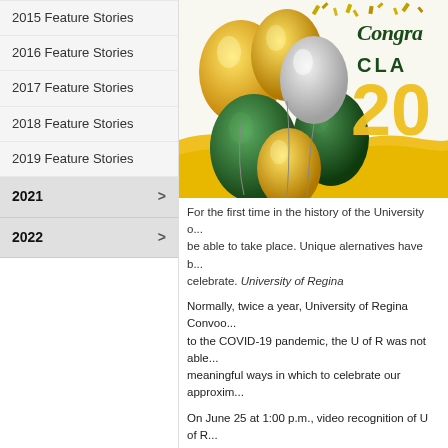2015 Feature Stories
2016 Feature Stories
2017 Feature Stories
2018 Feature Stories
2019 Feature Stories
2021 >
2022 >
[Figure (photo): Congratulations Class of 20XX banner with gold, green and white balloons and confetti, University of Regina graduation image]
For the first time in the history of the University o... be able to take place. Unique alternatives have b... celebrate. University of Regina
Normally, twice a year, University of Regina Convoc... to the COVID-19 pandemic, the U of R was not able... meaningful ways in which to celebrate our approxim...
On June 25 at 1:00 p.m., video recognition of U of R...